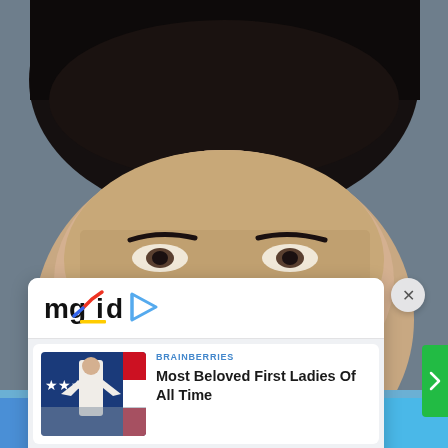[Figure (photo): Background photo of an Asian man's face (eyes and top of head visible), gray background, dark hair]
[Figure (screenshot): mgid content recommendation widget showing two article cards with thumbnail images and headlines]
BRAINBERRIES
Most Beloved First Ladies Of All Time
BRAINBERRIES
The Most Stunning Wedding Looks From Around The World
[Figure (logo): mgid logo with play button icon]
Facebook share button | Twitter share button